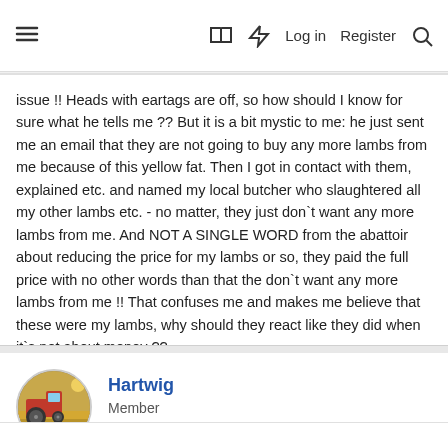≡  [book icon]  [lightning icon]  Log in  Register  [search icon]
issue !! Heads with eartags are off, so how should I know for sure what he tells me ?? But it is a bit mystic to me: he just sent me an email that they are not going to buy any more lambs from me because of this yellow fat. Then I got in contact with them, explained etc. and named my local butcher who slaughtered all my other lambs etc. - no matter, they just don`t want any more lambs from me. And NOT A SINGLE WORD from the abattoir about reducing the price for my lambs or so, they paid the full price with no other words than that the don`t want any more lambs from me !! That confuses me and makes me believe that these were my lambs, why should they react like they did when it`s not about money ??
Reply
Hartwig
Member